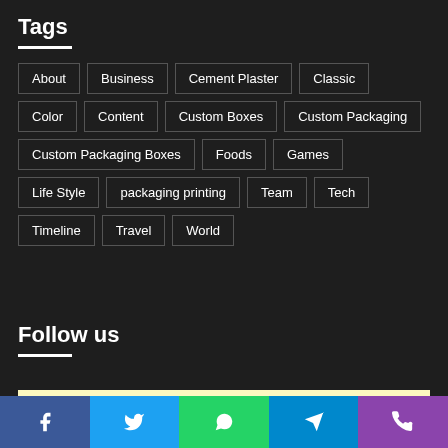Tags
About
Business
Cement Plaster
Classic
Color
Content
Custom Boxes
Custom Packaging
Custom Packaging Boxes
Foods
Games
Life Style
packaging printing
Team
Tech
Timeline
Travel
World
Follow us
Error Can not Get Tweets, Incorrect account info.